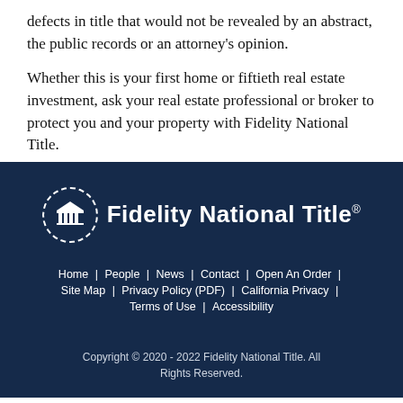defects in title that would not be revealed by an abstract, the public records or an attorney's opinion.
Whether this is your first home or fiftieth real estate investment, ask your real estate professional or broker to protect you and your property with Fidelity National Title.
[Figure (logo): Fidelity National Title logo: circular icon with building/columns graphic beside bold white text 'Fidelity National Title']
Home | People | News | Contact | Open An Order | Site Map | Privacy Policy (PDF) | California Privacy | Terms of Use | Accessibility
Copyright © 2020 - 2022 Fidelity National Title. All Rights Reserved.